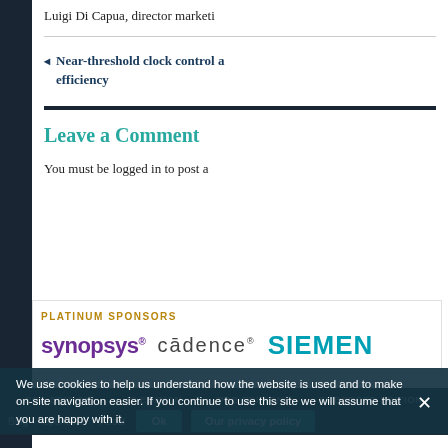Luigi Di Capua, director marketi…
Near-threshold clock control a… efficiency
Leave a Comment
You must be logged in to post a…
PLATINUM SPONSORS
[Figure (logo): Synopsys, Cadence, and Siemens platinum sponsor logos]
We use cookies to help us understand how the website is used and to make on-site navigation easier. If you continue to use this site we will assume that you are happy with it.
EDA EDITION   IP EDITION   PCB EDITION   EMBEDDED EDITION   Blog | Sponsors | About   Ok   Our privacy policy